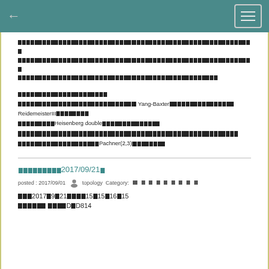← ☰
■■■■■■■■■■■■■■■■■■■■■■■■■■■■■■■■■■■■■■■■■■■■■■■■■■■■■■■■■■■■■■■■■■■■■■■■■■■■■■■■■■■■■■■■■■■■■■■■■■■■■■■■■■■■■■■■■■■■■■■■■■■■■■■■■■■■■■■■■■■■■■■■■■■■■■■■■■■■■■■■Yang-Baxter■■■■■■■■■■■■■■■■ReidemeisterIII■■■■■■■■■■■■■■■Heisenberg double■■■■■■■■■■■■■■■■■■■■■■■■■■■■■■■■■■■■■■■■■■■■■■■■■■■■■■■■■■■■Pachner(2,3)■■■■■■■■■
■■■■■■■■■2017/09/21■
posted : 2017/09/01  topology  Category:■■■■■■■■■
■■■2017■9■21■■■■15■15■16■15
■■■■■■ ■■■■D■D814